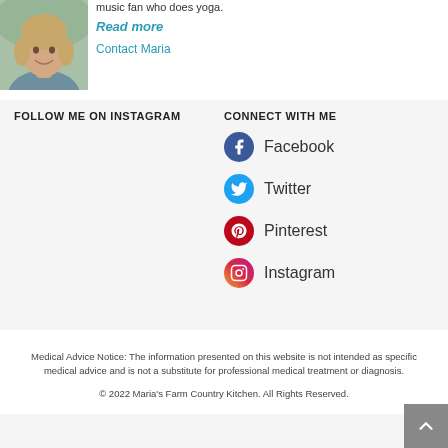[Figure (photo): Profile photo of Maria, a smiling woman with light hair wearing a grey shirt, outdoors with blurred green background]
music fan who does yoga.
Read more
Contact Maria
FOLLOW ME ON INSTAGRAM
CONNECT WITH ME
Facebook
Twitter
Pinterest
Instagram
Medical Advice Notice: The information presented on this website is not intended as specific medical advice and is not a substitute for professional medical treatment or diagnosis.
© 2022 Maria's Farm Country Kitchen. All Rights Reserved.